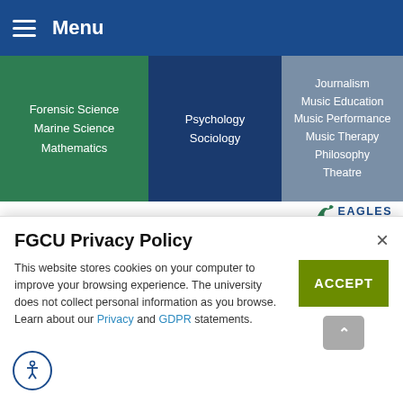Menu
[Figure (screenshot): Navigation menu with three subject columns: green column (Forensic Science, Marine Science, Mathematics), dark blue column (Psychology, Sociology), gray column (Journalism, Music Education, Music Performance, Music Therapy, Philosophy, Theatre)]
[Figure (logo): Eagles logo with eagle icon and EAGLES text]
Integrated Studies: Are you interested in a major that's contemporary, offers real world applications, provides perspectives from multiple varied disciplines and allows you to create your own unlimited opportunities? Integrated
FGCU Privacy Policy
This website stores cookies on your computer to improve your browsing experience. The university does not collect personal information as you browse. Learn about our Privacy and GDPR statements.